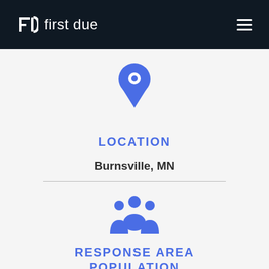first due
[Figure (illustration): Blue map location pin icon]
LOCATION
Burnsville, MN
[Figure (illustration): Blue group/people icon representing population]
RESPONSE AREA POPULATION